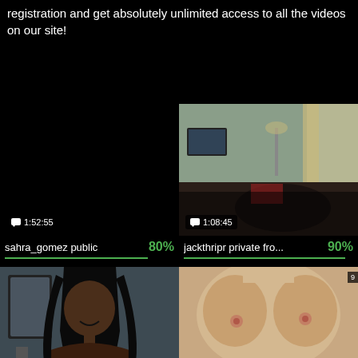registration and get absolutely unlimited access to all the videos on our site!
[Figure (screenshot): Black/dark video thumbnail with duration badge showing 1:52:55]
[Figure (screenshot): Room interior video thumbnail with duration badge showing 1:08:45]
sahra_gomez public  80%
jackthripr private fro...  90%
[Figure (screenshot): Woman with long hair video thumbnail with duration badge showing 1:41:55]
[Figure (screenshot): Video thumbnail with duration badge showing 1:46:56]
hillary_foox record pr  80%
baby_bbw record vid  90%